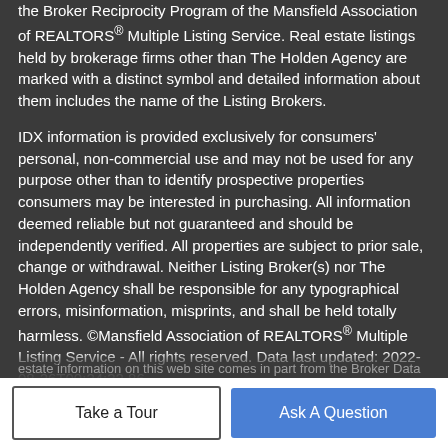the Broker Reciprocity Program of the Mansfield Association of REALTORS® Multiple Listing Service. Real estate listings held by brokerage firms other than The Holden Agency are marked with a distinct symbol and detailed information about them includes the name of the Listing Brokers.
IDX information is provided exclusively for consumers' personal, non-commercial use and may not be used for any purpose other than to identify prospective properties consumers may be interested in purchasing. All information deemed reliable but not guaranteed and should be independently verified. All properties are subject to prior sale, change or withdrawal. Neither Listing Broker(s) nor The Holden Agency shall be responsible for any typographical errors, misinformation, misprints, and shall be held totally harmless. ©Mansfield Association of REALTORS® Multiple Listing Service - All rights reserved. Data last updated: 2022-08-26T00:24:32.86 Listing information © 2022 YES-MLS. All rights reserved. The data relating to real
estate information on this web site comes in part from the Broker Data
Take a Tour
Ask A Question